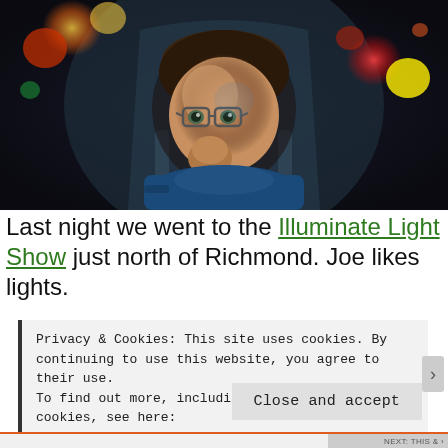[Figure (photo): A young boy wearing glasses sitting in a car seat at night, looking forward with bokeh lights in the background (red, yellow, green colored circles of light)]
Last night we went to the Illuminate Light Show just north of Richmond. Joe likes lights.
Privacy & Cookies: This site uses cookies. By continuing to use this website, you agree to their use.
To find out more, including how to control cookies, see here:
Cookie Policy
Close and accept